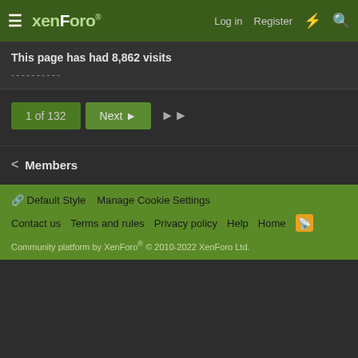XenForo — Log in | Register
This page has had 8,862 visits
----------
1 of 132  Next  ▶▶
< Members
Default Style  Manage Cookie Settings
Contact us  Terms and rules  Privacy policy  Help  Home
Community platform by XenForo® © 2010-2022 XenForo Ltd.